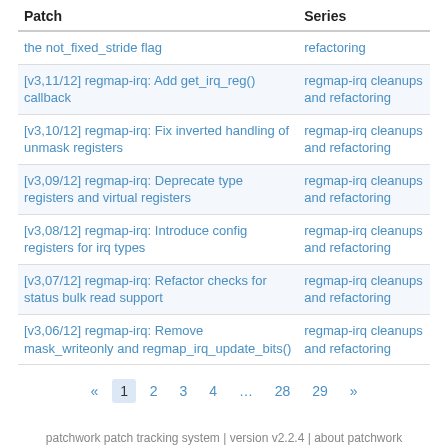| Patch | Series |
| --- | --- |
| the not_fixed_stride flag | refactoring |
| [v3,11/12] regmap-irq: Add get_irq_reg() callback | regmap-irq cleanups and refactoring |
| [v3,10/12] regmap-irq: Fix inverted handling of unmask registers | regmap-irq cleanups and refactoring |
| [v3,09/12] regmap-irq: Deprecate type registers and virtual registers | regmap-irq cleanups and refactoring |
| [v3,08/12] regmap-irq: Introduce config registers for irq types | regmap-irq cleanups and refactoring |
| [v3,07/12] regmap-irq: Refactor checks for status bulk read support | regmap-irq cleanups and refactoring |
| [v3,06/12] regmap-irq: Remove mask_writeonly and regmap_irq_update_bits() | regmap-irq cleanups and refactoring |
« 1 2 3 4 … 28 29 »
patchwork patch tracking system | version v2.2.4 | about patchwork